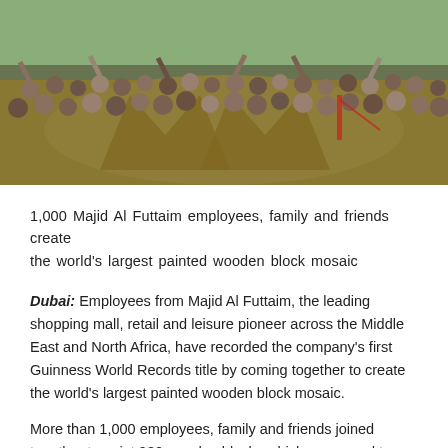[Figure (photo): A large group of Majid Al Futtaim employees, family and friends gathered outdoors, many waving and celebrating, with a large painted wooden block mosaic visible on the ground behind them forming a golden 'M' symbol.]
1,000 Majid Al Futtaim employees, family and friends create the world's largest painted wooden block mosaic
Dubai: Employees from Majid Al Futtaim, the leading shopping mall, retail and leisure pioneer across the Middle East and North Africa, have recorded the company's first Guinness World Records title by coming together to create the world's largest painted wooden block mosaic.
More than 1,000 employees, family and friends joined together to paint 930 wooden blocks which were used to create the 45.5 sqm golden 'M', made famous in Majid Al Futtaim's logo. The blocks